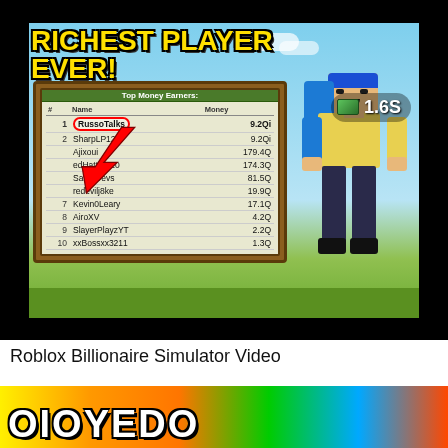[Figure (screenshot): Roblox Billionaire Simulator YouTube thumbnail showing 'RICHEST PLAYER EVER!' title text in yellow, a leaderboard of Top Money Earners with RussoTalks circled in red at #1 with 9.2Qi, and a Roblox character on the right. Money badge shows 1.6S.]
Roblox Billionaire Simulator Video
[Figure (screenshot): Bottom partial banner image with colorful background and large bold text beginning with letters (partially visible).]